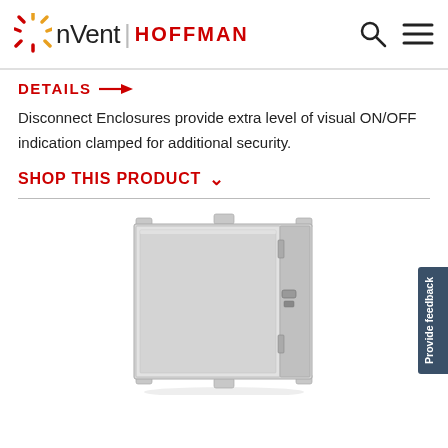[Figure (logo): nVent HOFFMAN logo with sunburst graphic, search icon and hamburger menu icon on the right]
DETAILS →
Disconnect Enclosures provide extra level of visual ON/OFF indication clamped for additional security.
SHOP THIS PRODUCT ∨
[Figure (photo): Gray metal disconnect enclosure box with mounting tabs, hinged door on right side with handle/latch hardware]